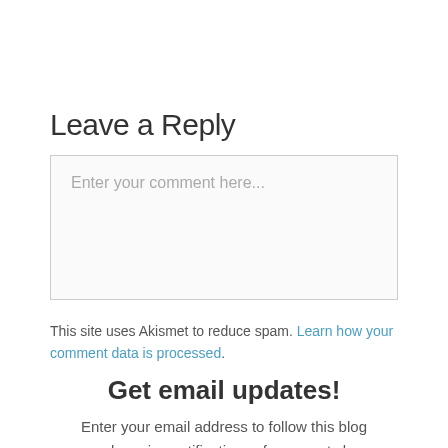Leave a Reply
[Figure (other): Comment text input box with placeholder text 'Enter your comment here...']
This site uses Akismet to reduce spam. Learn how your comment data is processed.
Get email updates!
Enter your email address to follow this blog and receive notifications of new posts by